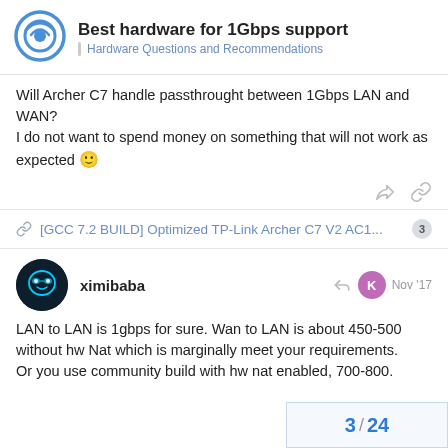Best hardware for 1Gbps support | Hardware Questions and Recommendations
Will Archer C7 handle passthrought between 1Gbps LAN and WAN?
I do not want to spend money on something that will not work as expected 🙂
[GCC 7.2 BUILD] Optimized TP-Link Archer C7 V2 AC1... 3
ximibaba — Nov '17
LAN to LAN is 1gbps for sure. Wan to LAN is about 450-500 without hw Nat which is marginally meet your requirements. Or you use community build with hw nat enabled, 700-800.
3 / 24